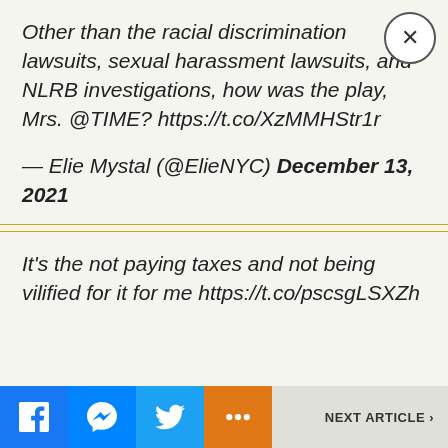Other than the racial discrimination lawsuits, sexual harassment lawsuits, and NLRB investigations, how was the play, Mrs. @TIME? https://t.co/XzMMHStr1r
— Elie Mystal (@ElieNYC) December 13, 2021
It's the not paying taxes and not being vilified for it for me https://t.co/pscsgLSXZh
NEXT ARTICLE >